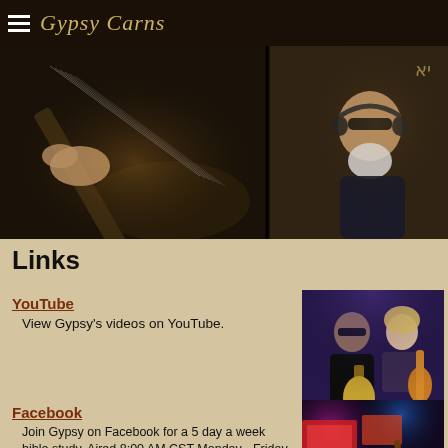Gypsy Carns
[Figure (photo): Banner photo showing two musicians: left side shows close-up of hands playing electric guitar, right side shows a man with sunglasses and white beard performing]
Links
YouTube
View Gypsy's videos on YouTube.
[Figure (photo): Two people posing with musical instruments — a man in black and a woman in a corset-style outfit holding a saxophone]
Facebook
Join Gypsy on Facebook for a 5 day a week bible study. Aired 8:00 AM CST Monday - Friday. Also, music from Gypsy from time to time and old pics from the past.
[Figure (photo): Musician playing guitar on a colorful lit stage]